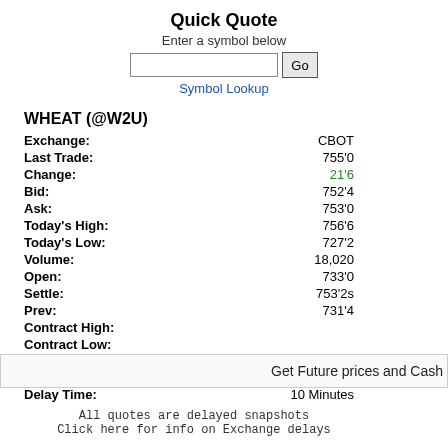Quick Quote
Enter a symbol below
Symbol Lookup
| Field | Value |
| --- | --- |
| Exchange: | CBOT |
| Last Trade: | 755'0 |
| Change: | 21'6 |
| Bid: | 752'4 |
| Ask: | 753'0 |
| Today's High: | 756'6 |
| Today's Low: | 727'2 |
| Volume: | 18,020 |
| Open: | 733'0 |
| Settle: | 753'2s |
| Prev: | 731'4 |
| Contract High: |  |
| Contract Low: |  |
| Updated: | Aug-19-2022 1:21:00PM |
| Delay Time: | 10 Minutes |
All quotes are delayed snapshots
Click here for info on Exchange delays
Get Future prices and Cash